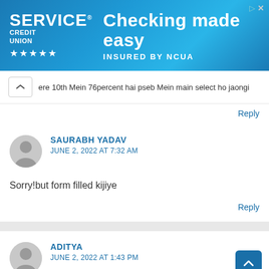[Figure (infographic): Service Credit Union advertisement banner. Text reads: SERVICE CREDIT UNION, Checking made easy, INSURED BY NCUA]
ere 10th Mein 76percent hai pseb Mein main select ho jaongi
Reply
SAURABH YADAV
JUNE 2, 2022 AT 7:32 AM
Sorry!but form filled kijiye
Reply
ADITYA
JUNE 2, 2022 AT 1:43 PM